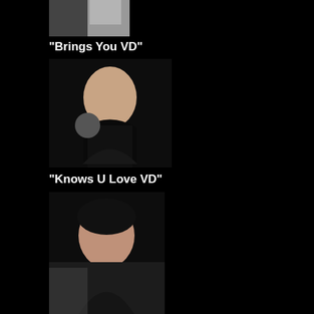[Figure (photo): Partial photo of a person, cropped at top of page]
"Brings You VD"
[Figure (photo): Photo of a woman with dark hair wearing a black top]
"Knows U Love VD"
[Figure (photo): Photo of a woman with dark hair and red lipstick]
"Wants More VD"
[Figure (photo): Photo of a woman laughing, wearing a tan top]